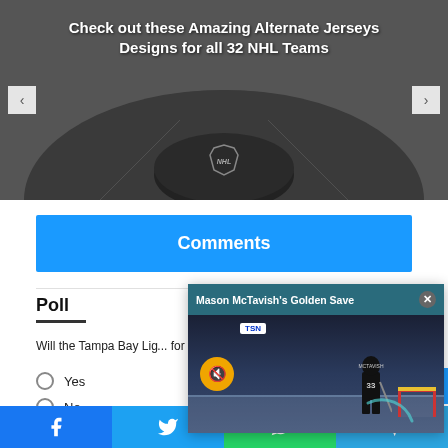[Figure (screenshot): Hero banner image with NHL hockey puck/jersey background in grayscale, with navigation arrows and article title overlay. Title reads: Check out these Amazing Alternate Jerseys Designs for all 32 NHL Teams]
Check out these Amazing Alternate Jerseys Designs for all 32 NHL Teams
Comments
Poll
Will the Tampa Bay Li... for a 4th
Yes
No
[Figure (screenshot): Video popup overlay: Mason McTavish's Golden Save - hockey video with player #23 McTavish near goal, TSN logo, mute button, and close button]
Mason McTavish's Golden Save